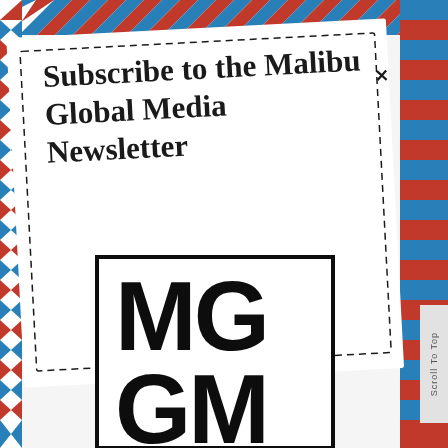[Figure (illustration): Airmail envelope popup with red and blue diagonal stripe border pattern on a tilted white envelope background]
Subscribe to the Malibu Global Media Newsletter
[Figure (logo): MGGM logo in large bold black letters inside a black-bordered rectangle]
Scroll To Top